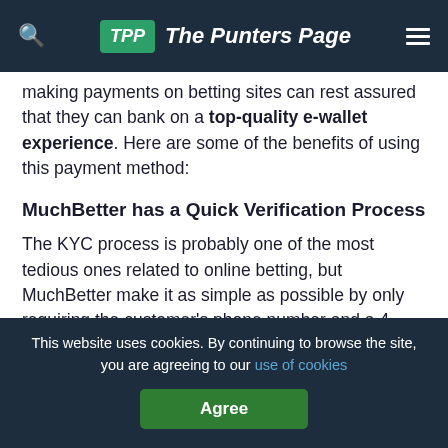TPP The Punters Page
making payments on betting sites can rest assured that they can bank on a top-quality e-wallet experience. Here are some of the benefits of using this payment method:
MuchBetter has a Quick Verification Process
The KYC process is probably one of the most tedious ones related to online betting, but MuchBetter make it as simple as possible by only requiring the customer's phone number and a 4-digit password to verify their identity.
This website uses cookies. By continuing to browse the site, you are agreeing to our use of cookies